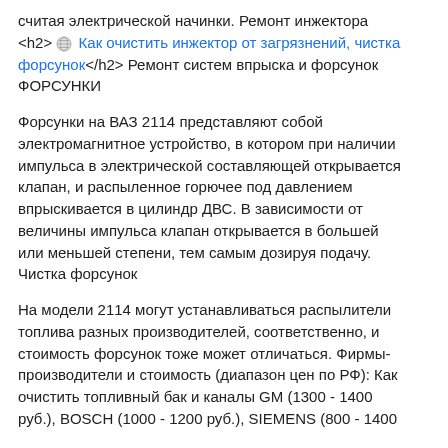считая электрической начинки. Ремонт инжектора <h2>🌐 Как очистить инжектор от загрязнений, чистка форсунок</h2> Ремонт систем впрыска и форсунок ФОРСУНКИ
Форсунки на ВАЗ 2114 представляют собой электромагнитное устройство, в котором при наличии импульса в электрической составляющей открывается клапан, и распыленное горючее под давлением впрыскивается в цилиндр ДВС. В зависимости от величины импульса клапан открывается в большей или меньшей степени, тем самым дозируя подачу. Чистка форсунок
На модели 2114 могут устанавливаться распылители топлива разных производителей, соответственно, и стоимость форсунок тоже может отличаться. Фирмы-производители и стоимость (диапазон цен по РФ): Как очистить топливный бак и каналы GM (1300 - 1400 руб.), BOSCH (1000 - 1200 руб.), SIEMENS (800 - 1400